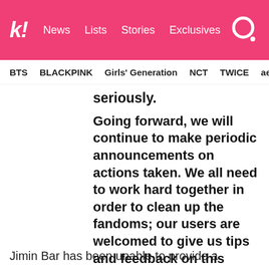kl! News Lists Stories Exclusives
BTS BLACKPINK Girls' Generation NCT TWICE aespa
seriously.
Going forward, we will continue to make periodic announcements on actions taken. We all need to work hard together in order to clean up the fandoms; our users are welcomed to give us tips and feedback on this matter. ””
— Weibo
Jimin Bar has been unable to provide a